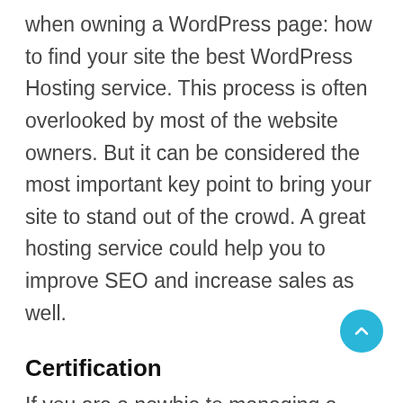when owning a WordPress page: how to find your site the best WordPress Hosting service. This process is often overlooked by most of the website owners. But it can be considered the most important key point to bring your site to stand out of the crowd. A great hosting service could help you to improve SEO and increase sales as well.
Certification
If you are a newbie to managing a WordPress website, then congratulations! You are here at the right track with us because we are going to introduce you one of the most basic knowledge when owning a WordPress page: how to find your site the best WordPress Hosting service. This